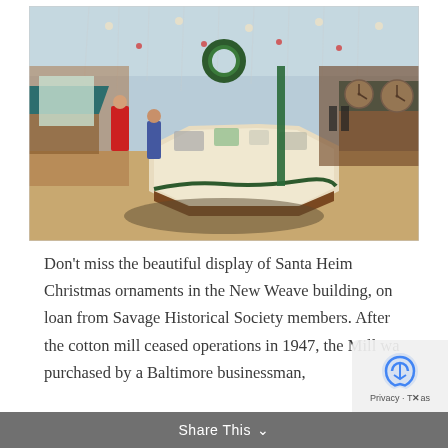[Figure (photo): Interior of a holiday market or mill building decorated for Christmas. A large central octagonal display counter with merchandise is surrounded by vendor booths with teal/dark green tent canopies. String lights and Christmas decorations hang from a glass ceiling. A woman in a red dress stands to the left. Several shoppers browse the space. Clocks are visible on the right wall.]
Don't miss the beautiful display of Santa Heim Christmas ornaments in the New Weave building, on loan from Savage Historical Society members. After the cotton mill ceased operations in 1947, the Mill wa purchased by a Baltimore businessman,